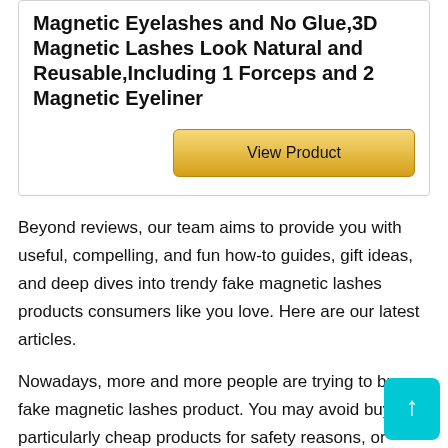Magnetic Eyelashes and No Glue,3D Magnetic Lashes Look Natural and Reusable,Including 1 Forceps and 2 Magnetic Eyeliner
View Product
Beyond reviews, our team aims to provide you with useful, compelling, and fun how-to guides, gift ideas, and deep dives into trendy fake magnetic lashes products consumers like you love. Here are our latest articles.
Nowadays, more and more people are trying to buy fake magnetic lashes product. You may avoid buying particularly cheap products for safety reasons, or simply